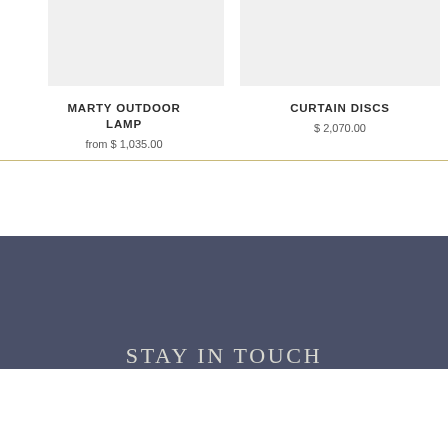[Figure (photo): Product image placeholder for Marty Outdoor Lamp, light gray background]
MARTY OUTDOOR LAMP
from $ 1,035.00
[Figure (photo): Product image placeholder for Curtain Discs, light gray background]
CURTAIN DISCS
$ 2,070.00
STAY IN TOUCH